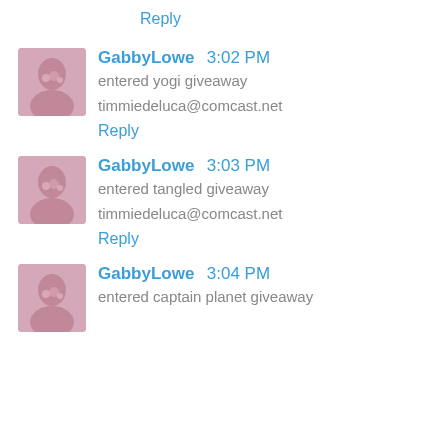Reply
GabbyLowe 3:02 PM
entered yogi giveaway
timmiedeluca@comcast.net
Reply
GabbyLowe 3:03 PM
entered tangled giveaway
timmiedeluca@comcast.net
Reply
GabbyLowe 3:04 PM
entered captain planet giveaway